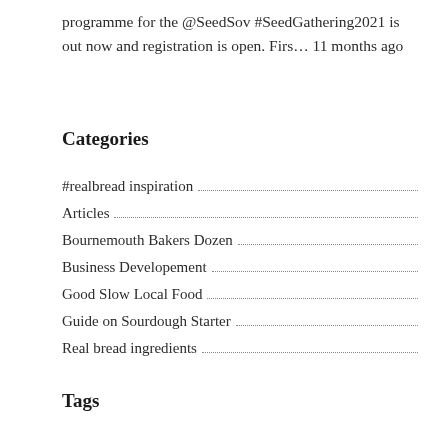programme for the @SeedSov #SeedGathering2021 is out now and registration is open. Firs… 11 months ago
Categories
#realbread inspiration
Articles
Bournemouth Bakers Dozen
Business Developement
Good Slow Local Food
Guide on Sourdough Starter
Real bread ingredients
Tags